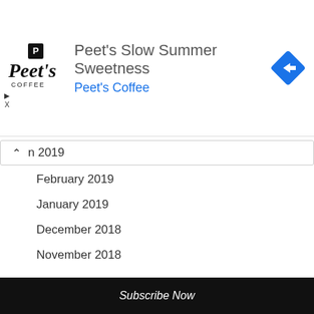[Figure (logo): Peet's Coffee logo with advertisement: 'Peet's Slow Summer Sweetness' by Peet's Coffee with blue navigation arrow icon]
n 2019
February 2019
January 2019
December 2018
November 2018
October 2018
September 2018
August 2018
July 2018
June 2018
May 2018
Subscribe Now